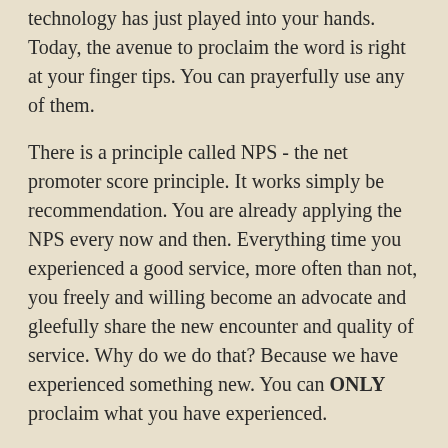technology has just played into your hands. Today, the avenue to proclaim the word is right at your finger tips. You can prayerfully use any of them.
There is a principle called NPS - the net promoter score principle. It works simply be recommendation. You are already applying the NPS every now and then. Everything time you experienced a good service, more often than not, you freely and willing become an advocate and gleefully share the new encounter and quality of service. Why do we do that? Because we have experienced something new. You can ONLY proclaim what you have experienced.
This is what the Lord gives us freely 24/7. The Word of God is new everyday; every moment. There is a newness we experience when we study, and engage the Word with expectation. The Word is also available everywhere to access.
God gave the word but we WON'T experience it, neither are we going to proclaim it, unless we find time to engage the word and thereby contact the greatness God has reserved SPECIFICALLY for US. And if we don't, we may be denying